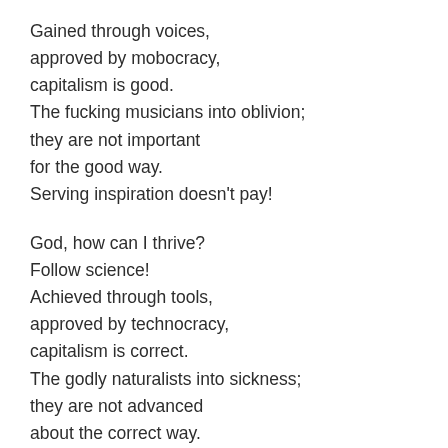Gained through voices,
approved by mobocracy,
capitalism is good.
The fucking musicians into oblivion;
they are not important
for the good way.
Serving inspiration doesn't pay!
God, how can I thrive?
Follow science!
Achieved through tools,
approved by technocracy,
capitalism is correct.
The godly naturalists into sickness;
they are not advanced
about the correct way.
Serving nature doesn't pay!
Damn, how can I realize?